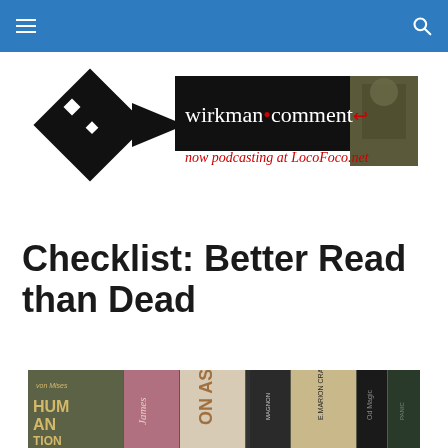Navigation bar with hamburger menu and search icon
[Figure (logo): Wirkman Comment logo with black diamond/arrow shape, white text 'wirkman•comment', red subtitle 'now podcasting at LocoFoco.net', and a photo of a man in the upper right corner]
Checklist: Better Read than Dead
[Figure (photo): Photo of book spines including 'von Mises HUMAN ACTION', James (book), 'ON AS...' (On Assassination), 'E. Marion Crawford A Human Singer', 'Od Magic', and other books arranged on a shelf]